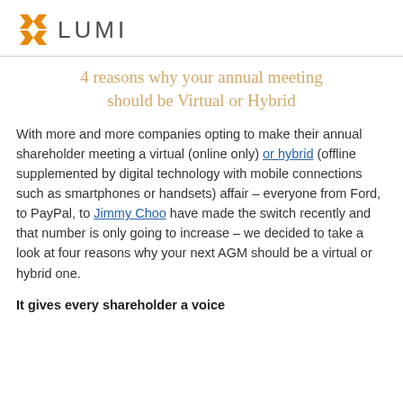[Figure (logo): Lumi logo: orange X mark icon followed by 'LUMI' text in grey]
4 reasons why your annual meeting should be Virtual or Hybrid
With more and more companies opting to make their annual shareholder meeting a virtual (online only) or hybrid (offline supplemented by digital technology with mobile connections such as smartphones or handsets) affair – everyone from Ford, to PayPal, to Jimmy Choo have made the switch recently and that number is only going to increase – we decided to take a look at four reasons why your next AGM should be a virtual or hybrid one.
It gives every shareholder a voice